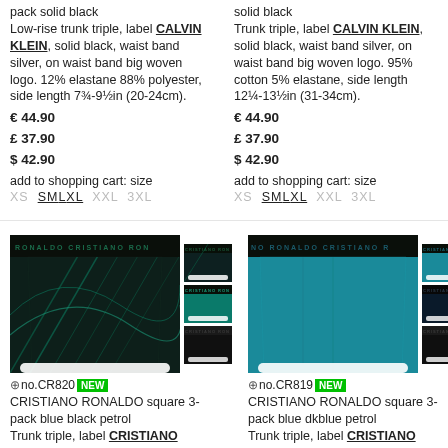pack solid black
Low-rise trunk triple, label CALVIN KLEIN, solid black, waist band silver, on waist band big woven logo. 12% elastane 88% polyester, side length 7¾-9½in (20-24cm).
€ 44.90
£ 37.90
$ 42.90
add to shopping cart: size
XS S M L XL XXL 3XL
solid black
Trunk triple, label CALVIN KLEIN, solid black, waist band silver, on waist band big woven logo. 95% cotton 5% elastane, side length 12¼-13½in (31-34cm).
€ 44.90
£ 37.90
$ 42.90
add to shopping cart: size
XS S M L XL XXL 3XL
[Figure (photo): Cristiano Ronaldo CR820 square 3-pack boxer briefs in blue black petrol, shown front view plus 3 thumbnail variants]
[Figure (photo): Cristiano Ronaldo CR819 square 3-pack boxer briefs in blue dkblue petrol, shown front view plus 3 thumbnail variants]
no.CR820 NEW
CRISTIANO RONALDO square 3-pack blue black petrol
Trunk triple, label CRISTIANO RONALDO, one solid blue, one black, one petrol, waist band black, on waist band big woven logo. 95% cotton 5% elastane
no.CR819 NEW
CRISTIANO RONALDO square 3-pack blue dkblue petrol
Trunk triple, label CRISTIANO RONALDO, one solid blue, one very dark blue, one petrol, on waist band big woven logo. 95% cotton 5% elastane, side length